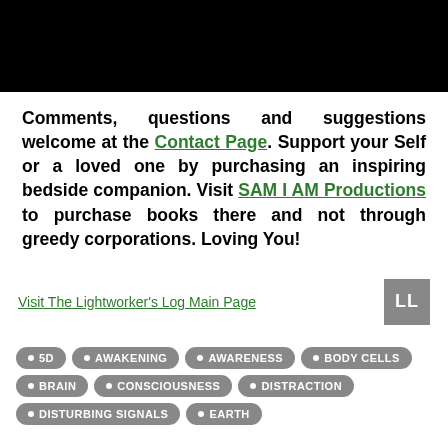[Figure (photo): Black rectangular banner/header image at top of page]
Comments, questions and suggestions welcome at the Contact Page. Support your Self or a loved one by purchasing an inspiring bedside companion. Visit SAM I AM Productions to purchase books there and not through greedy corporations. Loving You!
Visit The Lightworker's Log Main Page
[Figure (logo): LL logo — white letters on grey/dark background]
5D
AWAKENING
AWARENESS
BODY CELLS
BRAIN
CONSCIOUSNESS
DISTRACTION
DISTURBING SIGNALS
EARTH